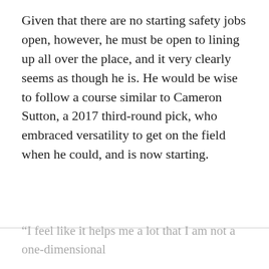Given that there are no starting safety jobs open, however, he must be open to lining up all over the place, and it very clearly seems as though he is. He would be wise to follow a course similar to Cameron Sutton, a 2017 third-round pick, who embraced versatility to get on the field when he could, and is now starting.
“I feel like it helps me a lot that I am not a one-dimensional